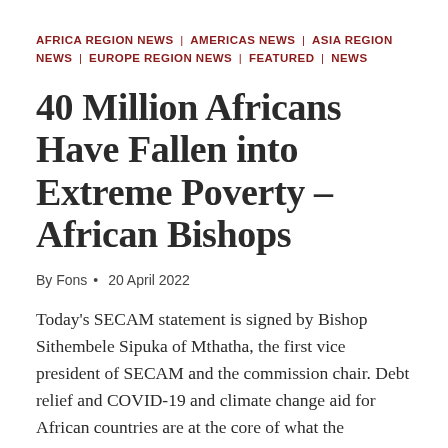AFRICA REGION NEWS | AMERICAS NEWS | ASIA REGION NEWS | EUROPE REGION NEWS | FEATURED | NEWS
40 Million Africans Have Fallen into Extreme Poverty – African Bishops
By Fons • 20 April 2022
Today's SECAM statement is signed by Bishop Sithembele Sipuka of Mthatha, the first vice president of SECAM and the commission chair. Debt relief and COVID-19 and climate change aid for African countries are at the core of what the conference is calling for. The statement notes 40 million Africans have